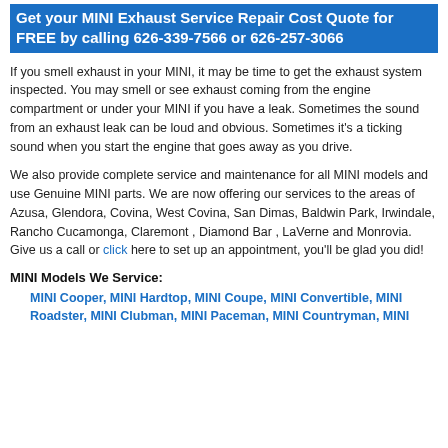Get your MINI Exhaust Service Repair Cost Quote for FREE by calling 626-339-7566 or 626-257-3066
If you smell exhaust in your MINI, it may be time to get the exhaust system inspected. You may smell or see exhaust coming from the engine compartment or under your MINI if you have a leak. Sometimes the sound from an exhaust leak can be loud and obvious. Sometimes it's a ticking sound when you start the engine that goes away as you drive.
We also provide complete service and maintenance for all MINI models and use Genuine MINI parts. We are now offering our services to the areas of Azusa, Glendora, Covina, West Covina, San Dimas, Baldwin Park, Irwindale, Rancho Cucamonga, Claremont , Diamond Bar , LaVerne and Monrovia. Give us a call or click here to set up an appointment, you'll be glad you did!
MINI Models We Service:
MINI Cooper, MINI Hardtop, MINI Coupe, MINI Convertible, MINI Roadster, MINI Clubman, MINI Paceman, MINI Countryman, MINI